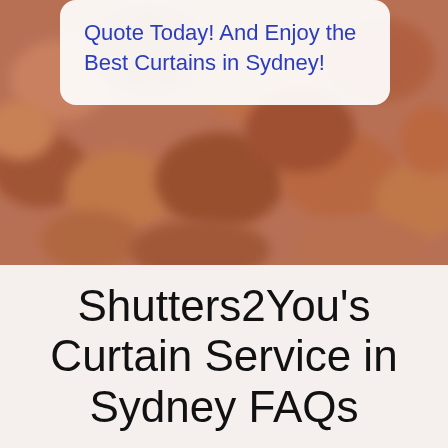[Figure (photo): Close-up blurred photo of brown/terracotta curtain fabric texture with a white rounded card overlay showing text]
Quote Today! And Enjoy the Best Curtains in Sydney!
Shutters2You's Curtain Service in Sydney FAQs